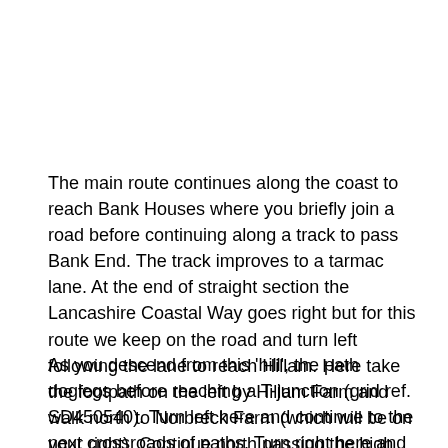The main route continues along the coast to reach Bank Houses where you briefly join a road before continuing along a track to pass Bank End. The track improves to a tarmac lane. At the end of straight section the Lancashire Coastal Way goes right but for this route we keep on the road and turn left following the lane to reach Hillam. Here take the footpath on the left by Hillam Farm and walk north to Norbreck Farm (which will be on your right). Continue north passing the high spot on the route - a trig point at 23 metres above sea level.
As you descend from this 'hill', the path doglegs before reaching a T-junction (grid ref. SD450540). Turn left here and continue to the next crossroads of paths. Turn right here and walk to Moss Lane. Cross this lane and continue north to